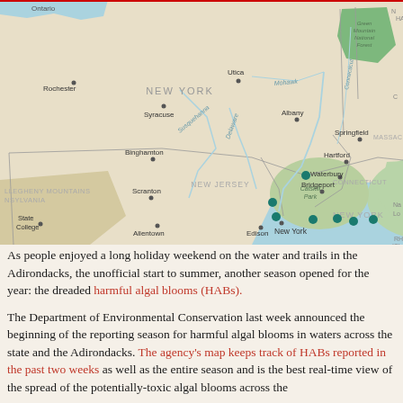[Figure (map): Geographic map of New York state and surrounding northeastern US region showing harmful algal bloom (HAB) locations marked as teal/dark green dots clustered near New York City and Long Island. Map shows cities including Rochester, Syracuse, Utica, Albany, Binghamton, Scranton, Allentown, Edison, New York, Bridgeport, Springfield, Hartford, Waterbury, Providence. States labeled include New York, New Jersey, Connecticut, Massachusetts. Geographic features include Ontario lake, Catskill Park, Green Mountain National Forest, Allegheny Mountains, Pennsylvania, Delaware and Susquehanna rivers.]
As people enjoyed a long holiday weekend on the water and trails in the Adirondacks, the unofficial start to summer, another season opened for the year: the dreaded harmful algal blooms (HABs).
The Department of Environmental Conservation last week announced the beginning of the reporting season for harmful algal blooms in waters across the state and the Adirondacks. The agency's map keeps track of HABs reported in the past two weeks as well as the entire season and is the best real-time view of the spread of the potentially-toxic algal blooms across the